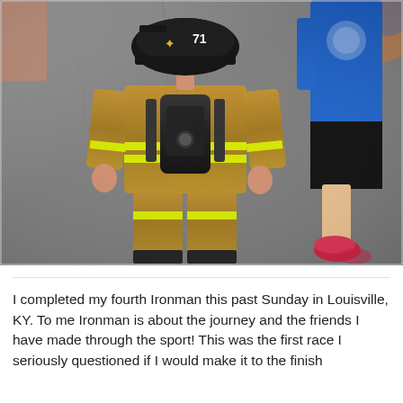[Figure (photo): A firefighter in full turnout gear with SCBA tank, wearing a helmet with number 71 badge, walking on asphalt road. Another runner in blue athletic gear is visible to the right.]
I completed my fourth Ironman this past Sunday in Louisville, KY. To me Ironman is about the journey and the friends I have made through the sport! This was the first race I seriously questioned if I would make it to the finish